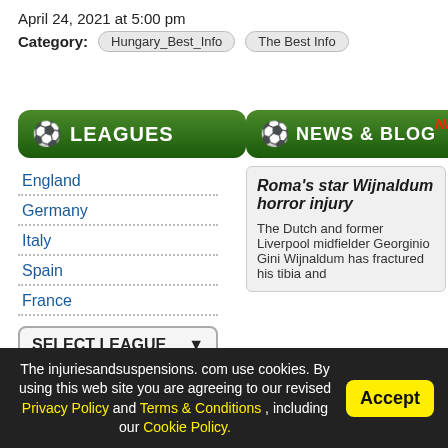April 24, 2021 at 5:00 pm
Category: Hungary_Best_Info  The Best Info
[Figure (screenshot): Green button with soccer ball icon labeled LEAGUES]
England
Germany
Italy
Spain
France
SELECT LEAGUE
[Figure (screenshot): Green button with soccer ball icon labeled NEWS & BLOG with NEW badge]
Roma's star Wijnaldum horror injury
The Dutch and former Liverpool midfielder Georginio Gini Wijnaldum has fractured his tibia and
The injuriesandsuspensions. com use cookies. By using this web site you are agreeing to our revised Privacy Policy and Terms & Conditions , including our Cookie Policy.